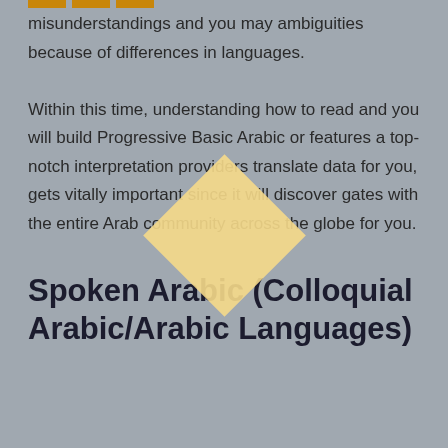[Figure (illustration): Top left decorative bar made of three orange/amber colored rectangular segments]
misunderstandings and you may ambiguities because of differences in languages.

Within this time, understanding how to read and you will build Progressive Basic Arabic or features a top-notch interpretation providers translate data for you, gets vitally important since it will discover gates with the entire Arab community across the globe for you.
[Figure (illustration): A yellow/golden diamond shape (rotated square) overlaid on the text in the center of the page]
Spoken Arabic (Colloquial Arabic/Arabic Languages)